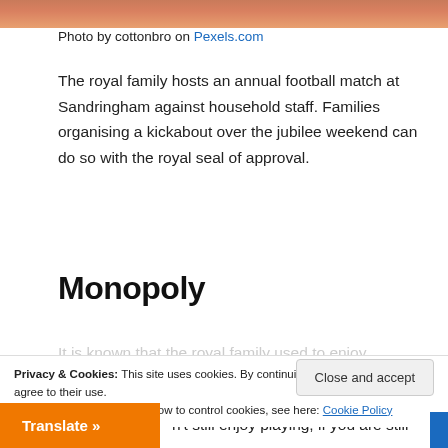[Figure (photo): Partial photo strip at top of page, showing warm reddish-brown tones]
Photo by cottonbro on Pexels.com
The royal family hosts an annual football match at Sandringham against household staff. Families organising a kickabout over the jubilee weekend can do so with the royal seal of approval.
Monopoly
It is known that the royal family used to enjoy...
Privacy & Cookies: This site uses cookies. By continuing to use this website, you agree to their use.
To find out more, including how to control cookies, see here: Cookie Policy
Close and accept
Translate »
n't still enjoy playing, if you are still